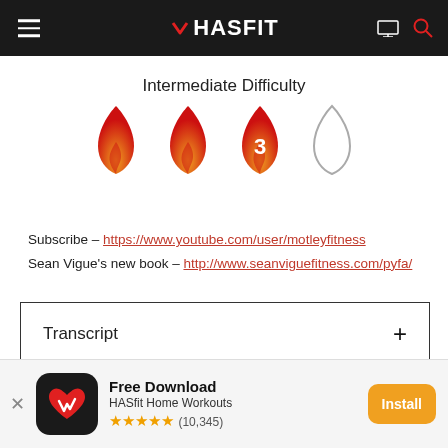HASFIT
[Figure (infographic): Intermediate Difficulty rating shown as 4 flame icons — 3 filled/colored flames and 1 outline flame, indicating level 3 of 4 difficulty]
Intermediate Difficulty
Subscribe – https://www.youtube.com/user/motleyfitness
Sean Vigue's new book – http://www.seanviguefitness.com/pyfa/
Transcript +
[Figure (infographic): App install banner: HASfit app icon (black rounded square with red/white heart logo), Free Download text, HASfit Home Workouts subtitle, 5 gold stars rating (10,345), and orange Install button]